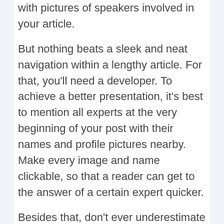with pictures of speakers involved in your article.
But nothing beats a sleek and neat navigation within a lengthy article. For that, you'll need a developer. To achieve a better presentation, it's best to mention all experts at the very beginning of your post with their names and profile pictures nearby. Make every image and name clickable, so that a reader can get to the answer of a certain expert quicker.
Besides that, don't ever underestimate the power of coding. Your users will thank you for a good-looking template with an expert's answer, his or her picture, social media profiles and, of course, a much desired